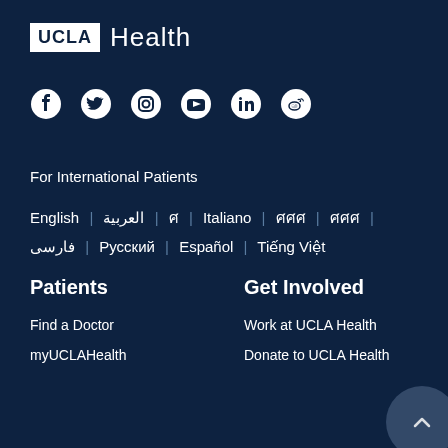[Figure (logo): UCLA Health logo with white UCLA box and 'Health' text in white on dark navy background]
[Figure (infographic): Social media icons row: Facebook, Twitter/X, Instagram, YouTube, LinkedIn, Weibo]
For International Patients
English | العربية | 한국어 | Italiano | 中文 | 日本語 | فارسی | Русский | Español | Tiếng Việt
Patients
Get Involved
Find a Doctor
myUCLAHealth
Work at UCLA Health
Donate to UCLA Health